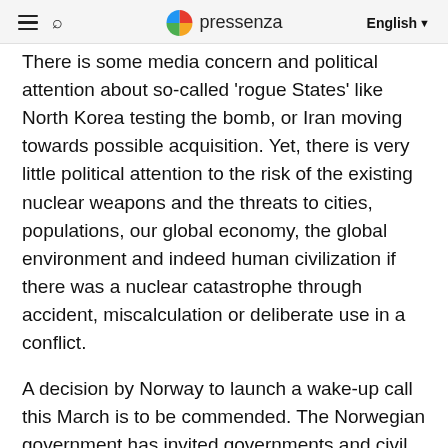pressenza   English
There is some media concern and political attention about so-called 'rogue States' like North Korea testing the bomb, or Iran moving towards possible acquisition. Yet, there is very little political attention to the risk of the existing nuclear weapons and the threats to cities, populations, our global economy, the global environment and indeed human civilization if there was a nuclear catastrophe through accident, miscalculation or deliberate use in a conflict.
A decision by Norway to launch a wake-up call this March is to be commended. The Norwegian government has invited governments and civil society to Oslo to examine the humanitarian impact of nuclear weapons. Over 100 governments and 500 civil society representatives have registered to attend.